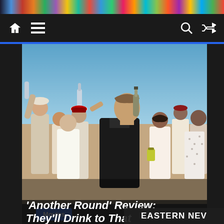[Figure (screenshot): Website screenshot showing a navigation bar with home and menu icons on the left, search and shuffle icons on the right, on a dark background.]
[Figure (photo): A man in a dark blazer tilts his head back drinking from a bottle while surrounded by a celebrating crowd of young people in white and red hats, some holding cans and bottles, outdoors under a blue sky. Movie still from 'Another Round'.]
Movies
'Another Round' Review: They'll Drink to That
EASTERN NEV